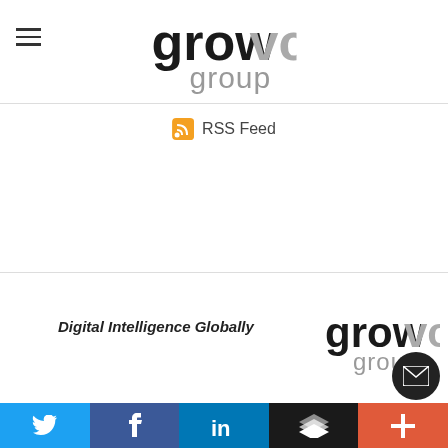[Figure (logo): Grow VC Group logo — header top center]
RSS Feed
Digital Intelligence Globally
[Figure (logo): Grow VC Group logo — footer area bottom right]
Twitter | Facebook | LinkedIn | Layers | Plus — social share bar